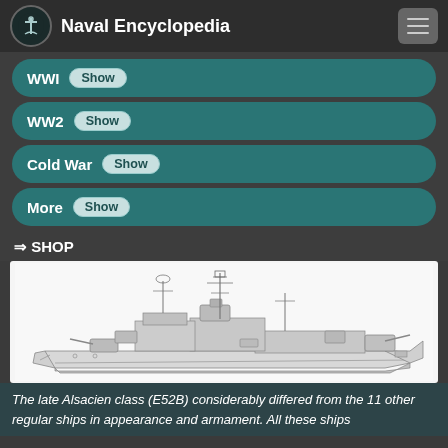Naval Encyclopedia
WWI Show
WW2 Show
Cold War Show
More Show
⇒ SHOP
[Figure (illustration): Line drawing / profile illustration of the late Alsacien class (E52B) destroyer/escort ship, showing side elevation with masts, guns, superstructure, and hull details.]
The late Alsacien class (E52B) considerably differed from the 11 other regular ships in appearance and armament. All these ships